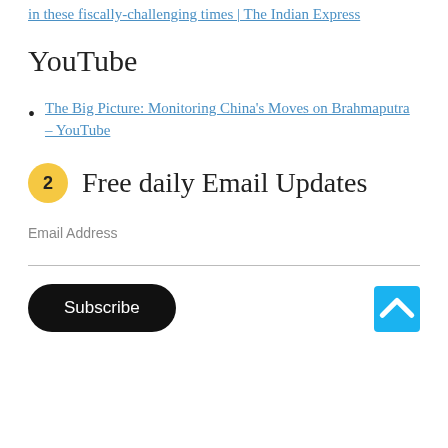in these fiscally-challenging times | The Indian Express
YouTube
The Big Picture: Monitoring China's Moves on Brahmaputra – YouTube
2 Free daily Email Updates
Email Address
Subscribe